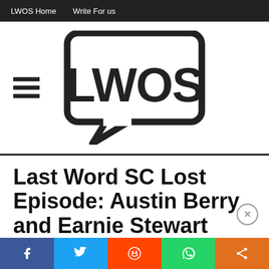LWOS Home   Write For us
[Figure (logo): LWOS logo: speech bubble with 'LWOS' text in bold, with hamburger menu icon to the left]
Last Word SC Lost Episode: Austin Berry and Earnie Stewart